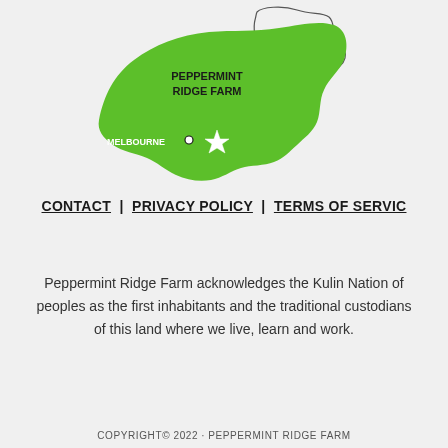[Figure (map): Map of Victoria, Australia in green, with Australia outline inset top right. Text labels: PEPPERMINT RIDGE FARM and MELBOURNE with dot and star marker.]
CONTACT | PRIVACY POLICY | TERMS OF SERVIC
Peppermint Ridge Farm acknowledges the Kulin Nation of peoples as the first inhabitants and the traditional custodians of this land where we live, learn and work.
COPYRIGHT© 2022 · PEPPERMINT RIDGE FARM